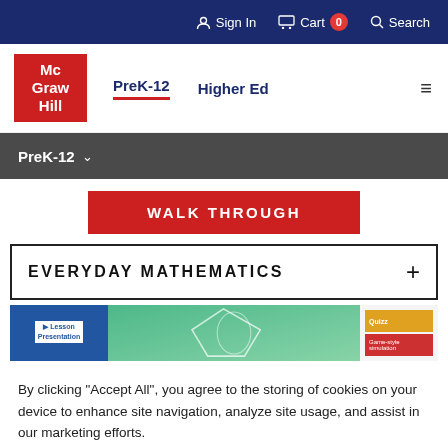Sign In  Cart 0  Search
[Figure (logo): McGraw Hill logo in red box]
PreK-12  Higher Ed
PreK-12
WALK THROUGH
EVERYDAY MATHEMATICS
[Figure (screenshot): Everyday Mathematics product screenshot with Lesson Presentation and game tiles]
By clicking "Accept All", you agree to the storing of cookies on your device to enhance site navigation, analyze site usage, and assist in our marketing efforts.
Cookies Settings
Accept All